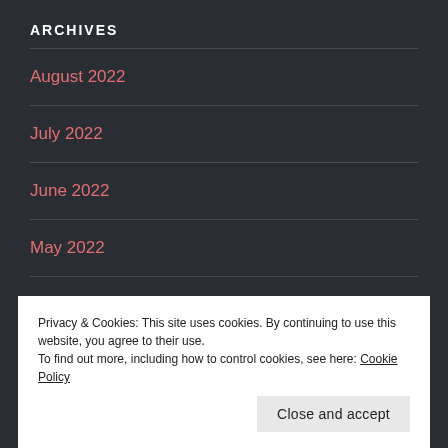ARCHIVES
August 2022
July 2022
June 2022
May 2022
April 2022
March 2022
Privacy & Cookies: This site uses cookies. By continuing to use this website, you agree to their use.
To find out more, including how to control cookies, see here: Cookie Policy
Close and accept